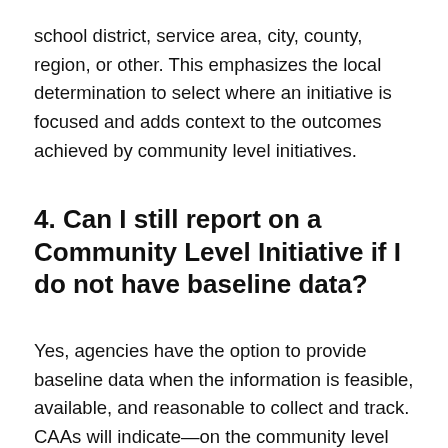school district, service area, city, county, region, or other. This emphasizes the local determination to select where an initiative is focused and adds context to the outcomes achieved by community level initiatives.
4. Can I still report on a Community Level Initiative if I do not have baseline data?
Yes, agencies have the option to provide baseline data when the information is feasible, available, and reasonable to collect and track. CAAs will indicate—on the community level initiative status page—whether